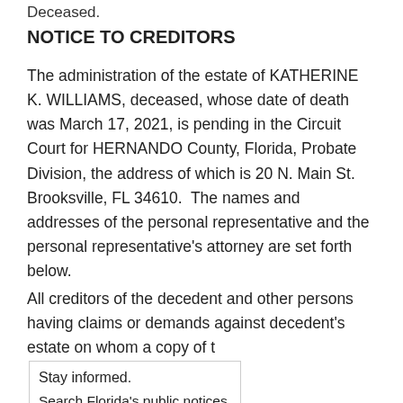Deceased.
NOTICE TO CREDITORS
The administration of the estate of KATHERINE K. WILLIAMS, deceased, whose date of death was March 17, 2021, is pending in the Circuit Court for HERNANDO County, Florida, Probate Division, the address of which is 20 N. Main St. Brooksville, FL 34610.  The names and addresses of the personal representative and the personal representative's attorney are set forth below.
All creditors of the decedent and other persons having claims or demands against decedent's estate on whom a copy of this notice is required to be served must file their claims with this court ON OR BEFORE THE LATER OF 3 MONTHS AFTER THE TIME OF THE FIRST PUBLICATION OF THIS NOTICE OR 30 DAYS AFTER THE DATE OF SERVICE OF A COPY OF THIS NOTICE ON THEM.
Stay informed.
Search Florida's public notices.
Search
All other creditors of the decedent and other persons having